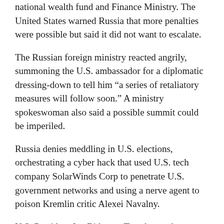national wealth fund and Finance Ministry. The United States warned Russia that more penalties were possible but said it did not want to escalate.
The Russian foreign ministry reacted angrily, summoning the U.S. ambassador for a diplomatic dressing-down to tell him “a series of retaliatory measures will follow soon.” A ministry spokeswoman also said a possible summit could be imperiled.
Russia denies meddling in U.S. elections, orchestrating a cyber hack that used U.S. tech company SolarWinds Corp to penetrate U.S. government networks and using a nerve agent to poison Kremlin critic Alexei Navalny.
U.S. President Joe Biden on Tuesday spoke to Russian President Vladimir Putin to raise concerns about these issues and the build-up of Russian forces in Crimea and along the border with Ukraine, though a top U.S. general